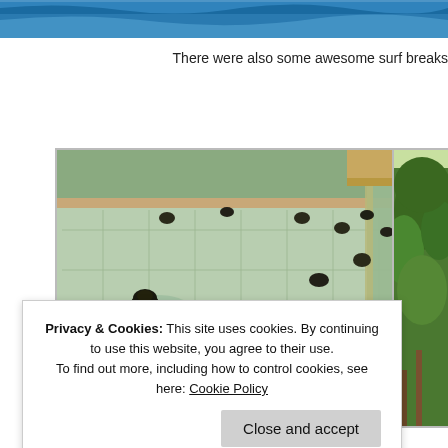[Figure (photo): Ocean/sea water view with blue waves at the top of the page, partially cropped]
There were also some awesome surf breaks
[Figure (photo): Baby sea turtles crawling on a green tiled floor in an enclosure/nursery facility]
[Figure (photo): Partially visible photo of lush green tropical trees and vegetation on the right side]
Privacy & Cookies: This site uses cookies. By continuing to use this website, you agree to their use. To find out more, including how to control cookies, see here: Cookie Policy
Close and accept